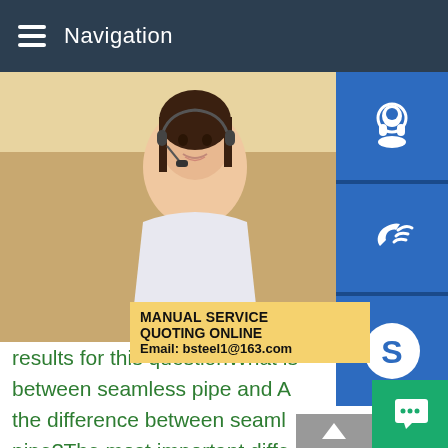Navigation
pipe?What is the tensile strength of A53 g... strength of the ASTM A53 Grade B Type S... yield strength is 240 Mpa.The ASTM A53 G... available as required by the buyer.For exa... could be manufactured without any coating... dipped.ASTM A53 Grade B Pipe SA 53 Gr...
[Figure (photo): Customer service representative woman with headset]
[Figure (infographic): Manual service quoting overlay with email bsteel1@163.com and blue icon buttons for support, phone, Skype]
results for this questionWhat is the difference between seamless pipe and A... the difference between seamless pipe?The most important diffe... meeting the A106 standard must be seamless while pipe meeting A53 can either be seamless or welded.Welded seam pipe is made by curling a steel plate into a cylinder and then joining the edges via a weld.Comparing common steel pipe A106 vs.A53 American results for this questionWhat is ASTM A53...